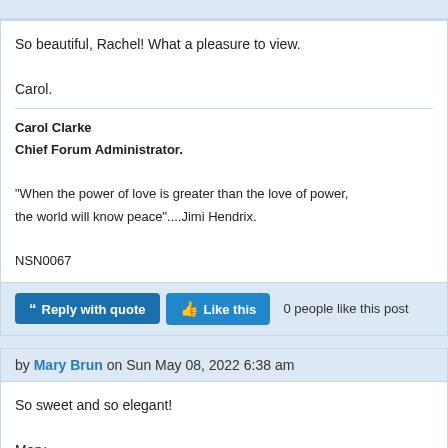So beautiful, Rachel! What a pleasure to view.

Carol.
Carol Clarke
Chief Forum Administrator.

"When the power of love is greater than the love of power, the world will know peace"....Jimi Hendrix.

NSN0067
Reply with quote  Like this  0 people like this post
by Mary Brun on Sun May 08, 2022 6:38 am
So sweet and so elegant!

Mary
Mary Brun photography - "Trees are the support of the sky, if we cut them down..."